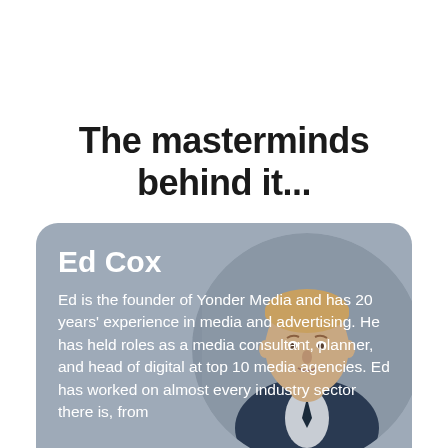The masterminds behind it...
Ed Cox
[Figure (photo): Portrait photo of Ed Cox, a man in a suit, shown in a circular crop against a grey card background]
Ed is the founder of Yonder Media and has 20 years' experience in media and advertising. He has held roles as a media consultant, planner, and head of digital at top 10 media agencies. Ed has worked on almost every industry sector there is, from